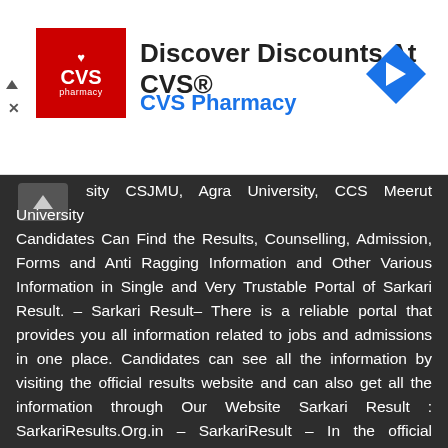[Figure (other): CVS Pharmacy advertisement banner with red CVS pharmacy logo on left, text 'Discover Discounts At CVS®' and 'CVS Pharmacy' in blue, and a blue diamond navigation icon on the right]
sity CSJMU, Agra University, CCS Meerut University Candidates Can Find the Results, Counselling, Admission, Forms and Anti Ragging Information and Other Various Information in Single and Very Trustable Portal of Sarkari Result. – Sarkari Result– There is a reliable portal that provides you all information related to jobs and admissions in one place. Candidates can see all the information by visiting the official results website and can also get all the information through Our Website Sarkari Result : SarkariResults.Org.in – SarkariResult – In the official SarkariResult portal, you can get the information rel to the result, admit card, answer key, syllabus, which is very beneficial in your government job, if you are also preparing